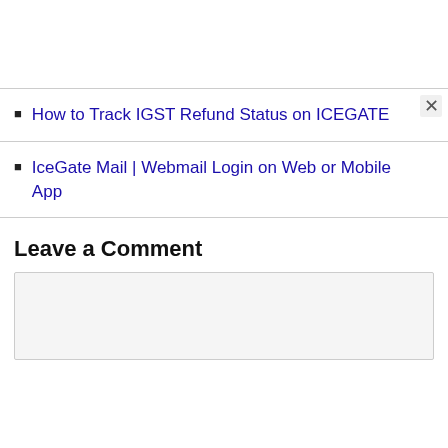How to Track IGST Refund Status on ICEGATE
IceGate Mail | Webmail Login on Web or Mobile App
Leave a Comment